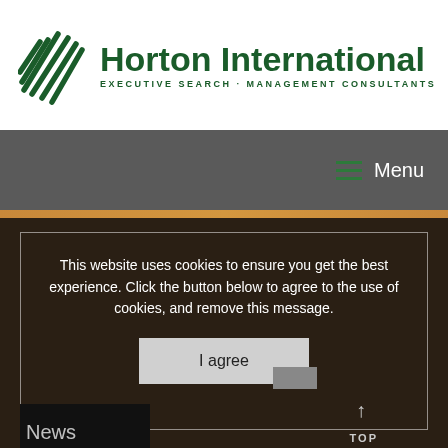[Figure (logo): Horton International logo with green diagonal lines icon and green text reading 'Horton International' with tagline 'EXECUTIVE SEARCH · MANAGEMENT CONSULTANTS']
Menu
This website uses cookies to ensure you get the best experience. Click the button below to agree to the use of cookies, and remove this message.
I agree
News
TOP